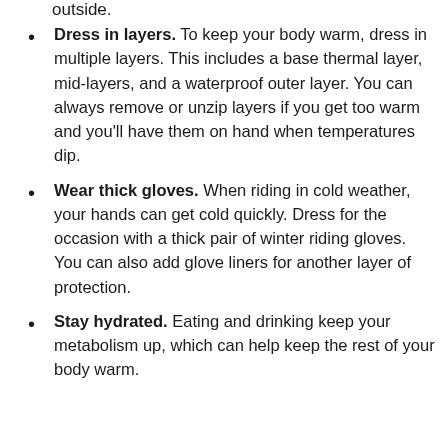outside.
Dress in layers. To keep your body warm, dress in multiple layers. This includes a base thermal layer, mid-layers, and a waterproof outer layer. You can always remove or unzip layers if you get too warm and you'll have them on hand when temperatures dip.
Wear thick gloves. When riding in cold weather, your hands can get cold quickly. Dress for the occasion with a thick pair of winter riding gloves. You can also add glove liners for another layer of protection.
Stay hydrated. Eating and drinking keep your metabolism up, which can help keep the rest of your body warm.